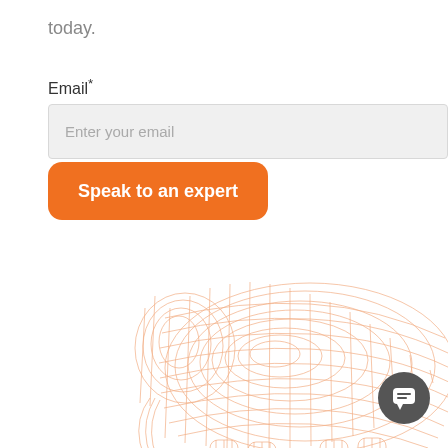today.
Email*
Enter your email
Speak to an expert
[Figure (illustration): Orange wireframe mesh 3D elephant illustration, partially visible, showing body and legs against white background]
[Figure (other): Dark gray circular chat/messaging button icon in lower right corner]